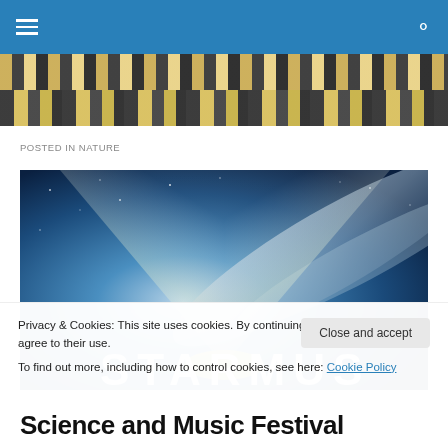Navigation bar with hamburger menu and search icon
[Figure (illustration): Two decorative mosaic/textile pattern strips in gold, black, and cream colors serving as a decorative banner]
POSTED IN NATURE
[Figure (photo): StarMus festival promotional image: deep blue space/galaxy scene with a bright light beam forming a V-shape and milky way galaxy band, text 'STARMUS' partially visible]
Privacy & Cookies: This site uses cookies. By continuing to use this website, you agree to their use.
To find out more, including how to control cookies, see here: Cookie Policy
Science and Music Festival